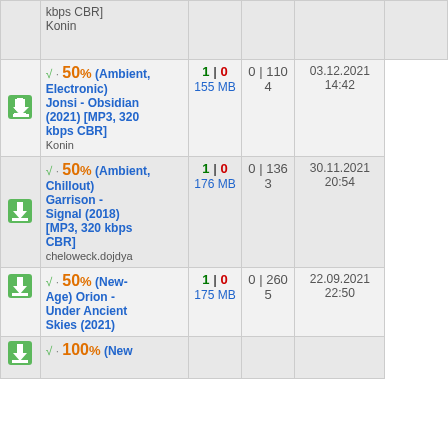|  | Title | Seeds|Leeches | Downloads | Date |
| --- | --- | --- | --- | --- |
| ↓ | √ · 50% (Ambient, Electronic) Jonsi - Obsidian (2021) [MP3, 320 kbps CBR]
Konin | 1 | 0
155 MB | 0 | 110
4 | 03.12.2021 14:42 |
| ↓ | √ · 50% (Ambient, Chillout) Garrison - Signal (2018) [MP3, 320 kbps CBR]
cheloweck.dojdya | 1 | 0
176 MB | 0 | 136
3 | 30.11.2021 20:54 |
| ↓ | √ · 50% (New-Age) Orion - Under Ancient Skies (2021)
175 MB | 1 | 0
175 MB | 0 | 260
5 | 22.09.2021 22:50 |
| ↓ | √ · 100% (New... |  |  |  |
Зарегистрированным пользователям доступно для скачки больше релизов и расширенный функционал трекера, а также они не видят большую часть рекламы. Более того, Вы не потеряете нас в случае блокировки или выпадения из индекса поисковиков. Вы желаете зарегистрироваться?